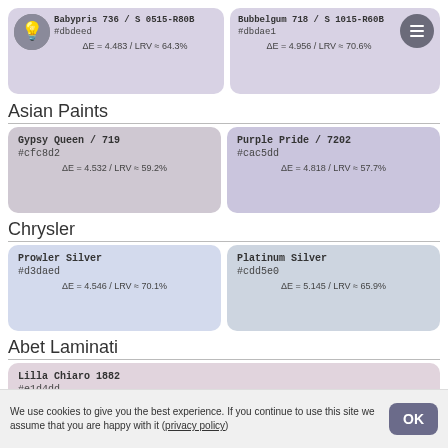[Figure (other): Color swatch card for Scandinavian Paints Babypris 736 / S 0515-R80B #dbdeed, ΔE = 4.483 / LRV ≈ 64.3%]
[Figure (other): Color swatch card for Bubbelgum 718 / S 1015-R60B #dbdae1, ΔE = 4.956 / LRV ≈ 70.6%]
Asian Paints
[Figure (other): Color swatch card for Gypsy Queen / 719 #cfc8d2, ΔE = 4.532 / LRV ≈ 59.2%]
[Figure (other): Color swatch card for Purple Pride / 7202 #cac5dd, ΔE = 4.818 / LRV ≈ 57.7%]
Chrysler
[Figure (other): Color swatch card for Prowler Silver #d3daed, ΔE = 4.546 / LRV ≈ 70.1%]
[Figure (other): Color swatch card for Platinum Silver #cdd5e0, ΔE = 5.145 / LRV ≈ 65.9%]
Abet Laminati
[Figure (other): Color swatch card for Lilla Chiaro 1882 #e1d4dd, ΔE = 4.585 / LRV ≈ 68.3%]
We use cookies to give you the best experience. If you continue to use this site we assume that you are happy with it (privacy policy)